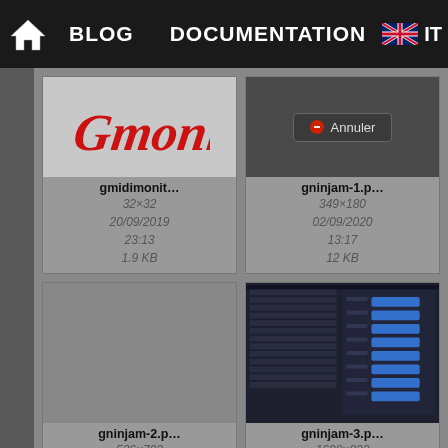🏠  BLOG  DOCUMENTATION  🇬🇧 IT
[Figure (screenshot): Gmidimonitor logo thumbnail — red stylized text on light background]
gmidimonit...
32×32
20/09/2019 23:13
1.9 KB
[Figure (screenshot): gninjam-1 thumbnail — dark background with Annuler button]
gninjam-1.p...
349×180
02/09/2020 13:17
12 KB
[Figure (screenshot): gninjam-2 thumbnail — blank gray area]
gninjam-2.p...
536×703
02/09/2020 13:02
54 KB
[Figure (screenshot): gninjam-3 thumbnail — dark blue software UI with blue button panels]
gninjam-3.p...
1600×822
02/09/2020 13:17
122.6 KB
[Figure (screenshot): Partially visible thumbnail — cyan/teal background with black ninja-G logo]
[Figure (screenshot): Partially visible thumbnail — dark terminal/console screenshot]